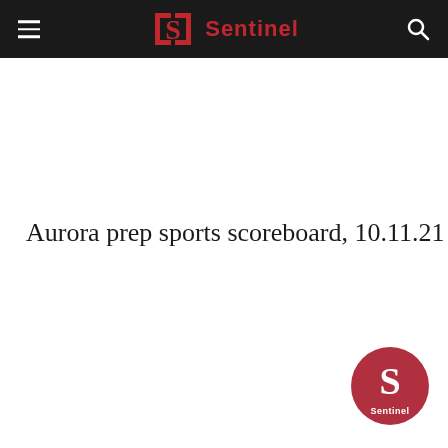Sentinel
Aurora prep sports scoreboard, 10.11.21
[Figure (logo): Sentinel circular logo badge in red with white S and Sentinel text]